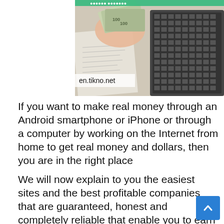[Figure (photo): Photo of hands holding $100 dollar bills fanned out, with a laptop keyboard visible in the background. Text overlay at bottom left reads 'en.tikno.net'. A teal/green decorative text banner is partially visible at the very top.]
If you want to make real money through an Android smartphone or iPhone or through a computer by working on the Internet from home to get real money and dollars, then you are in the right place
We will now explain to you the easiest sites and the best profitable companies that are guaranteed, honest and completely reliable that enable you to earn money without any effort and you can profit from them automatically witho...